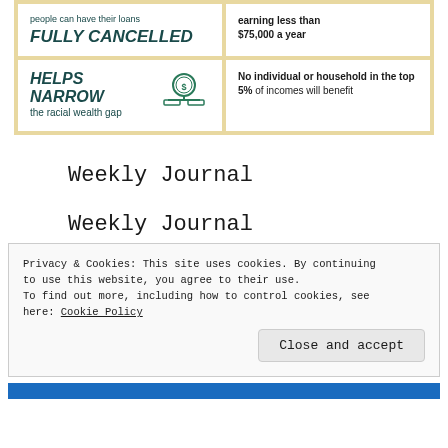[Figure (infographic): Infographic with beige background and 4 cells in 2x2 grid. Top-left: 'people can have their loans FULLY CANCELLED'. Top-right: 'earning less than $75,000 a year'. Bottom-left: 'HELPS NARROW the racial wealth gap' with coin/scale icon. Bottom-right: 'No individual or household in the top 5% of incomes will benefit'.]
Weekly Journal
Weekly Journal
Privacy & Cookies: This site uses cookies. By continuing to use this website, you agree to their use. To find out more, including how to control cookies, see here: Cookie Policy
Close and accept